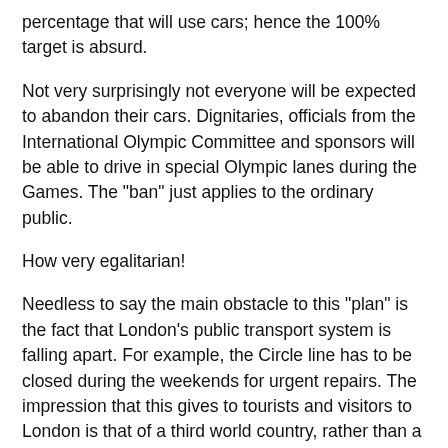percentage that will use cars; hence the 100% target is absurd.
Not very surprisingly not everyone will be expected to abandon their cars. Dignitaries, officials from the International Olympic Committee and sponsors will be able to drive in special Olympic lanes during the Games. The "ban" just applies to the ordinary public.
How very egalitarian!
Needless to say the main obstacle to this "plan" is the fact that London's public transport system is falling apart. For example, the Circle line has to be closed during the weekends for urgent repairs. The impression that this gives to tourists and visitors to London is that of a third world country, rather than a leading capital city.
Quite how London ever convinced the IOC that it has an adequate public transport infrastructure is beyond belief.
Others are not particularly convinced about the ODA's vision